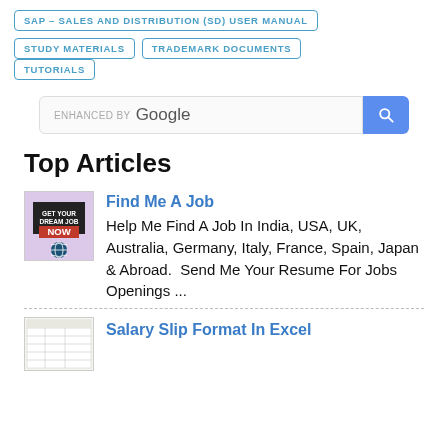SAP - SALES AND DISTRIBUTION (SD) USER MANUAL
STUDY MATERIALS
TRADEMARK DOCUMENTS
TUTORIALS
[Figure (screenshot): Google custom search bar with blue search button]
Top Articles
[Figure (illustration): Get Your Dream Job NOW thumbnail image with globe icon]
Find Me A Job
Help Me Find A Job In India, USA, UK, Australia, Germany, Italy, France, Spain, Japan & Abroad.  Send Me Your Resume For Jobs Openings ...
[Figure (table-as-image): Salary slip format thumbnail]
Salary Slip Format In Excel